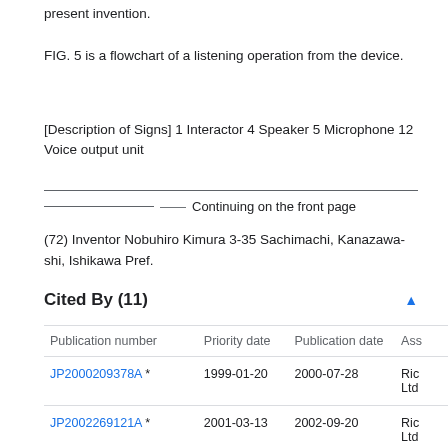present invention.
FIG. 5 is a flowchart of a listening operation from the device.
[Description of Signs] 1 Interactor 4 Speaker 5 Microphone 12 Voice output unit
Continuing on the front page
(72) Inventor Nobuhiro Kimura 3-35 Sachimachi, Kanazawa-shi, Ishikawa Pref.
Cited By (11)
| Publication number | Priority date | Publication date | Ass |
| --- | --- | --- | --- |
| JP2000209378A * | 1999-01-20 | 2000-07-28 | Ric Ltd |
| JP2002269121A * | 2001-03-13 | 2002-09-20 | Ric Ltd |